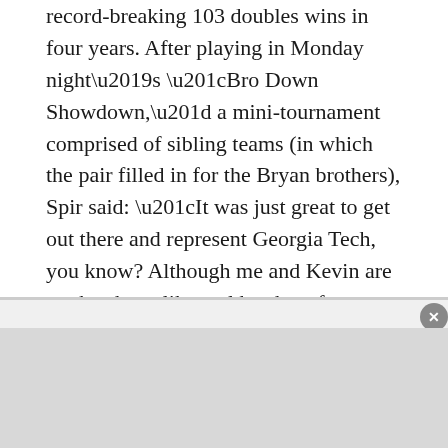record-breaking 103 doubles wins in four years. After playing in Monday night’s “Bro Down Showdown,” a mini-tournament comprised of sibling teams (in which the pair filled in for the Bryan brothers), Spir said: “It was just great to get out there and represent Georgia Tech, you know? Although me and Kevin are not brothers, like real brothers from blood, we definitely have shared a lot of things together in school.”
After the Atlanta Open, the doubles team will head to